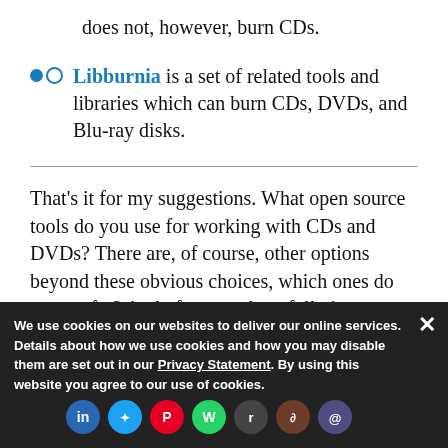does not, however, burn CDs.
Libburnia is a set of related tools and libraries which can burn CDs, DVDs, and Blu-ray disks.
That's it for my suggestions. What open source tools do you use for working with CDs and DVDs? There are, of course, other options beyond these obvious choices, which ones do you prefer? And of course, hopefully it goes without saying but I'll state it anyway, be sure you have the legal rights to make copies of any software, music, or movies you plan to burn.
We use cookies on our websites to deliver our online services. Details about how we use cookies and how you may disable them are set out in our Privacy Statement. By using this website you agree to our use of cookies.